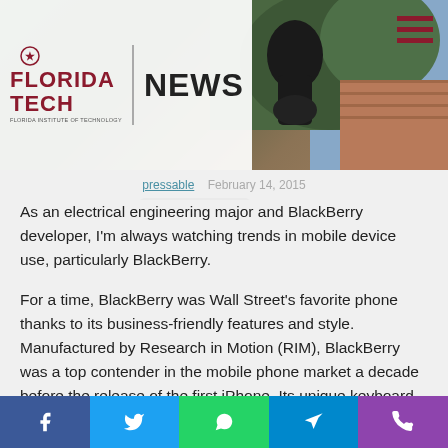[Figure (photo): Florida Tech News website header with logo on white background and a decorative outdoor photo (dark sculpture/statue against green foliage and red brick building). Hamburger menu icon in top right.]
pressable   February 14, 2015
As an electrical engineering major and BlackBerry developer, I'm always watching trends in mobile device use, particularly BlackBerry.
For a time, BlackBerry was Wall Street's favorite phone thanks to its business-friendly features and style. Manufactured by Research in Motion (RIM), BlackBerry was a top contender in the mobile phone market a decade before the release of the first iPhone. Its unique keyboard-based phone, tailored email system and BlackBerry Messenger (BBM) service attracted most of its customer base. But, with iPhone snatching BlackBerry's mobile device market share, BlackBerry...